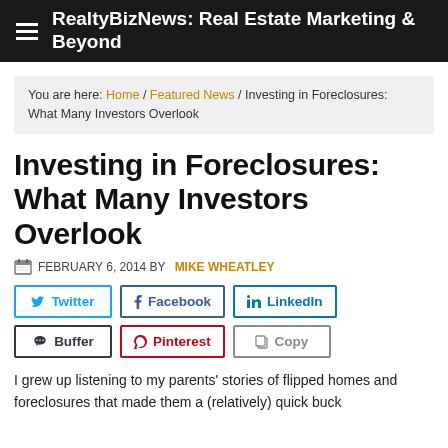RealtyBizNews: Real Estate Marketing & Beyond
You are here: Home / Featured News / Investing in Foreclosures: What Many Investors Overlook
Investing in Foreclosures: What Many Investors Overlook
FEBRUARY 6, 2014 BY MIKE WHEATLEY
[Figure (other): Social share buttons: Twitter, Facebook, LinkedIn, Buffer, Pinterest, Copy]
I grew up listening to my parents' stories of flipped homes and foreclosures that made them a (relatively) quick buck